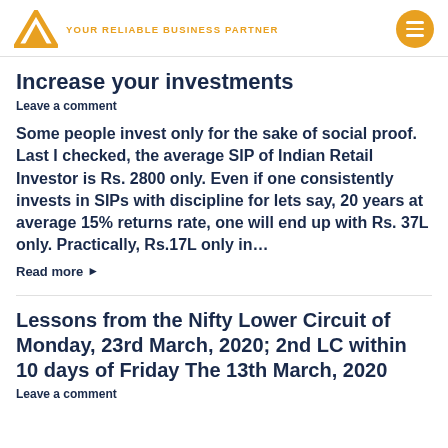YOUR RELIABLE BUSINESS PARTNER
Increase your investments
Leave a comment
Some people invest only for the sake of social proof. Last I checked, the average SIP of Indian Retail Investor is Rs. 2800 only. Even if one consistently invests in SIPs with discipline for lets say, 20 years at average 15% returns rate, one will end up with Rs. 37L only. Practically, Rs.17L only in…
Read more ▶
Lessons from the Nifty Lower Circuit of Monday, 23rd March, 2020; 2nd LC within 10 days of Friday The 13th March, 2020
Leave a comment